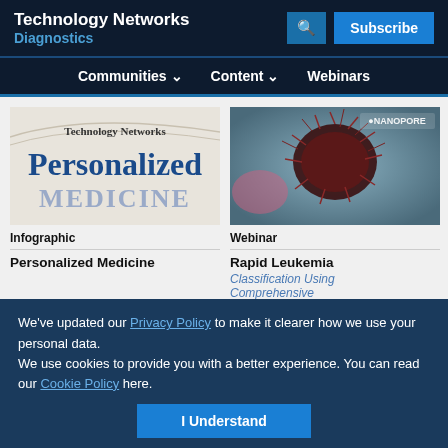Technology Networks
Diagnostics
Communities | Content | Webinars
[Figure (infographic): Technology Networks Personalized Medicine infographic cover with blue serif text on light background]
Infographic
Personalized Medicine
[Figure (photo): Microscopic image of leukemia cells with dark spiky appearance on blurred background, NANOPORE logo in corner]
Webinar
Rapid Leukemia
Classification Using
Comprehensive Genomic
Panels on Oxford...
We've updated our Privacy Policy to make it clearer how we use your personal data.
We use cookies to provide you with a better experience. You can read our Cookie Policy here.
I Understand